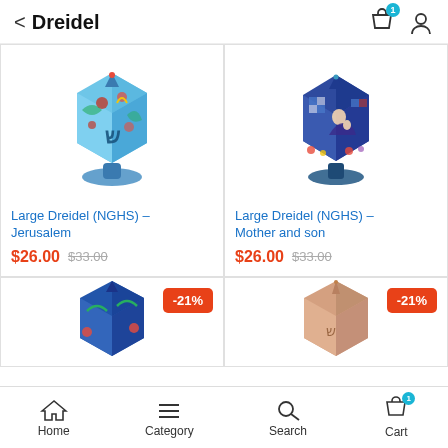Dreidel
[Figure (photo): Large colorful painted dreidel - Jerusalem design, blue with floral and city motifs]
Large Dreidel (NGHS) – Jerusalem
$26.00  $33.00
[Figure (photo): Large colorful painted dreidel - Mother and son design, dark blue with religious scene]
Large Dreidel (NGHS) – Mother and son
$26.00  $33.00
[Figure (photo): Partial view of blue dreidel with -21% discount badge]
[Figure (photo): Partial view of pink/nude colored dreidel with -21% discount badge]
Home  Category  Search  Cart